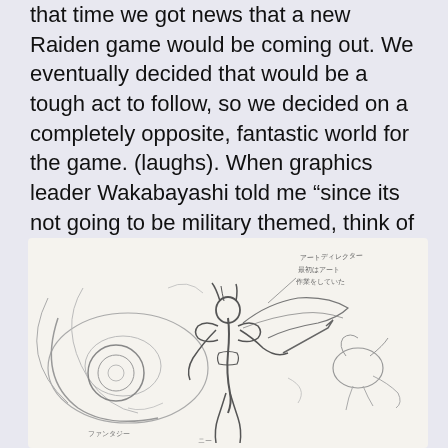that time we got news that a new Raiden game would be coming out. We eventually decided that would be a tough act to follow, so we decided on a completely opposite, fantastic world for the game. (laughs). When graphics leader Wakabayashi told me “since its not going to be military themed, think of something else”, I brought in some fantasy style storyboards and we went with that.
[Figure (illustration): A pencil sketch storyboard illustration showing a fantasy armored warrior figure riding or standing on a large creature with wings, with dynamic action lines and Japanese annotation text in the upper right corner. Additional creature forms visible in the background.]